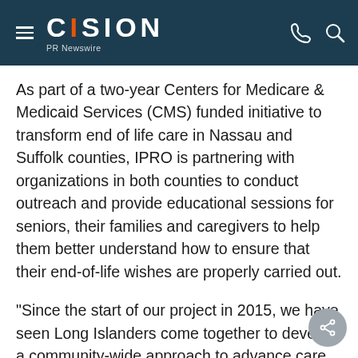CISION PR Newswire
As part of a two-year Centers for Medicare & Medicaid Services (CMS) funded initiative to transform end of life care in Nassau and Suffolk counties, IPRO is partnering with organizations in both counties to conduct outreach and provide educational sessions for seniors, their families and caregivers to help them better understand how to ensure that their end-of-life wishes are properly carried out.
"Since the start of our project in 2015, we have seen Long Islanders come together to develop a community-wide approach to advance care planning, and help Medicare beneficiaries receive